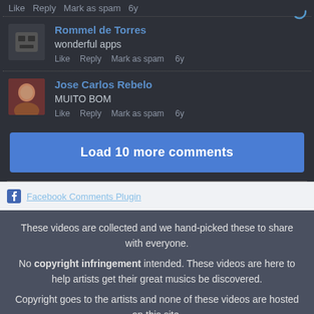Like  Reply  Mark as spam  6y
Rommel de Torres
wonderful apps
Like  Reply  Mark as spam  6y
Jose Carlos Rebelo
MUITO BOM
Like  Reply  Mark as spam  6y
Load 10 more comments
Facebook Comments Plugin
These videos are collected and we hand-picked these to share with everyone.
No copyright infringement intended. These videos are here to help artists get their great musics be discovered.
Copyright goes to the artists and none of these videos are hosted on this site.